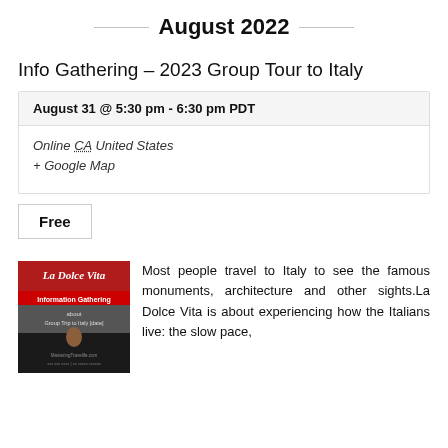August 2022
Info Gathering – 2023 Group Tour to Italy
August 31 @ 5:30 pm - 6:30 pm PDT
Online CA United States
+ Google Map
Free
[Figure (photo): La Dolce Vita Information Gathering about Group Trip to Italy promotional image with red background and decorative text]
Most people travel to Italy to see the famous monuments, architecture and other sights.La Dolce Vita is about experiencing how the Italians live: the slow pace,